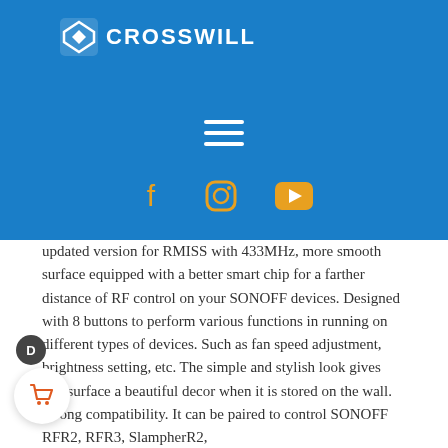[Figure (logo): Crosswill logo with white diamond/arrow icon and white text 'CROSSWILL' on blue background header]
[Figure (other): Hamburger menu icon (three horizontal white lines) centered on blue background]
[Figure (other): Social media icons: Facebook, Instagram, YouTube in orange/gold color on blue background]
updated version for RMISS with 433MHz, more smooth surface equipped with a better smart chip for a farther distance of RF control on your SONOFF devices. Designed with 8 buttons to perform various functions in running on different types of devices. Such as fan speed adjustment, brightness setting, etc. The simple and stylish look gives any surface a beautiful decor when it is stored on the wall. Strong compatibility. It can be paired to control SONOFF RFR2, RFR3, SlampherR2,